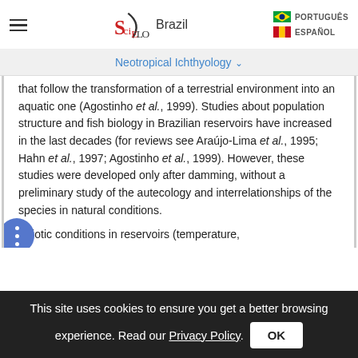[Figure (logo): SciELO Brazil logo with hamburger menu icon on left and language options (PORTUGUÊS, ESPAÑOL) with flags on right]
Neotropical Ichthyology ▾
that follow the transformation of a terrestrial environment into an aquatic one (Agostinho et al., 1999). Studies about population structure and fish biology in Brazilian reservoirs have increased in the last decades (for reviews see Araújo-Lima et al., 1995; Hahn et al., 1997; Agostinho et al., 1999). However, these studies were developed only after damming, without a preliminary study of the autecology and interrelationships of the species in natural conditions.
Abiotic conditions in reservoirs (temperature,
This site uses cookies to ensure you get a better browsing experience. Read our Privacy Policy.